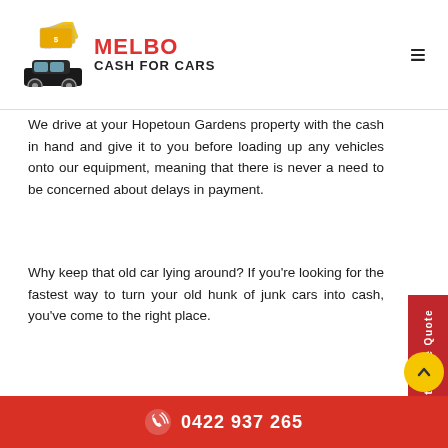MELBO CASH FOR CARS
We drive at your Hopetoun Gardens property with the cash in hand and give it to you before loading up any vehicles onto our equipment, meaning that there is never a need to be concerned about delays in payment.
Why keep that old car lying around? If you're looking for the fastest way to turn your old hunk of junk cars into cash, you've come to the right place.
Contact Us
Name
0422 937 265